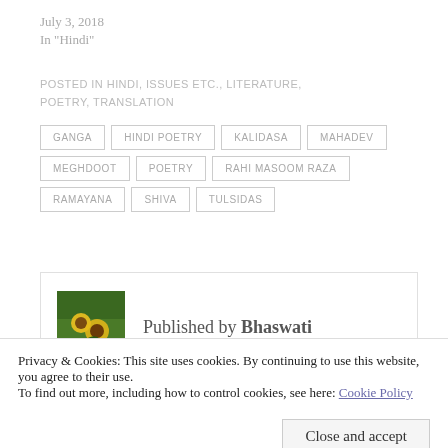July 3, 2018
In "Hindi"
POSTED IN HINDI, ISSUES ETC., LITERATURE, POETRY, TRANSLATION
GANGA
HINDI POETRY
KALIDASA
MAHADEV
MEGHDOOT
POETRY
RAHI MASOOM RAZA
RAMAYANA
SHIVA
TULSIDAS
Published by Bhaswati
Privacy & Cookies: This site uses cookies. By continuing to use this website, you agree to their use.
To find out more, including how to control cookies, see here: Cookie Policy
Close and accept